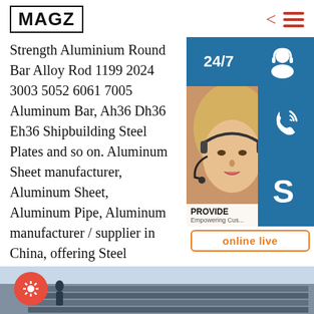MAGZ
Strength Aluminium Round Bar Alloy Rod 1199 2024 3003 5052 6061 7005 Aluminum Bar, Ah36 Dh36 Eh36 Shipbuilding Steel Plates and so on. Aluminum Sheet manufacturer, Aluminum Sheet, Aluminum Pipe, Aluminum manufacturer / supplier in China, offering Steel Seamless Pipe 2205, 2507 Welded China Factory Good Quality Solid High Strength Aluminium Round Bar Alloy Rod 1199 2024 3003 5052 6061 7005 Aluminum Bar, Ah36 Dh36 Eh36 Shipbuilding Steel Plates and so on.
[Figure (screenshot): Right side panel with 24/7 support icon, headset photo of woman, phone/call icon, Skype icon, PROVIDE Empowering Customers text, and online live button]
[Figure (photo): Bottom strip showing steel plates in snow/industrial setting with red gear settings button on left]